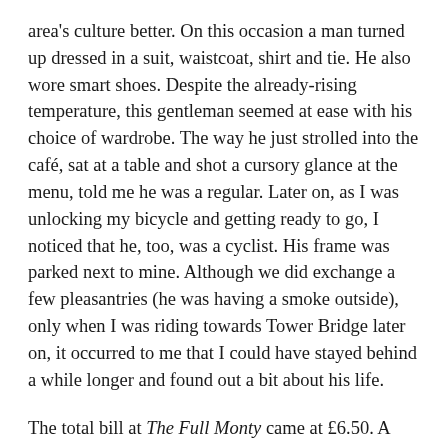area's culture better. On this occasion a man turned up dressed in a suit, waistcoat, shirt and tie. He also wore smart shoes. Despite the already-rising temperature, this gentleman seemed at ease with his choice of wardrobe. The way he just strolled into the café, sat at a table and shot a cursory glance at the menu, told me he was a regular. Later on, as I was unlocking my bicycle and getting ready to go, I noticed that he, too, was a cyclist. His frame was parked next to mine. Although we did exchange a few pleasantries (he was having a smoke outside), only when I was riding towards Tower Bridge later on, it occurred to me that I could have stayed behind a while longer and found out a bit about his life.
The total bill at The Full Monty came at £6.50. A snip when you have similar establishments just a mile and a half away, on Cambridge Heath Road that will charge three or four quid more for a similar meal. Although I didn't have any beverage this time, I'd strongly recommend the mocha here. I've had it before and it's the way I like my mochas: strong (double shot of espresso) and milky. I'll certainly come back to The Full Monty